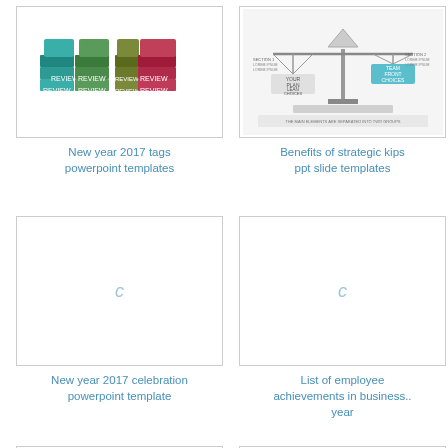[Figure (illustration): New year 2017 tags powerpoint template thumbnail showing colorful 3D ribbon banners forming the numbers 2017 in teal, green, olive, and red]
New year 2017 tags powerpoint templates
[Figure (illustration): Benefits of strategic kips ppt slide template thumbnail showing a balance/scales diagram with text]
Benefits of strategic kips ppt slide templates
[Figure (illustration): Loading placeholder thumbnail with a small italic c symbol in light blue]
New year 2017 celebration powerpoint template
[Figure (illustration): Loading placeholder thumbnail with a small italic c symbol in light blue]
List of employee achievements in business.. year
[Figure (illustration): Loading placeholder thumbnail with a small italic c symbol in light blue]
[Figure (illustration): Loading placeholder thumbnail with a small italic c symbol in light blue]